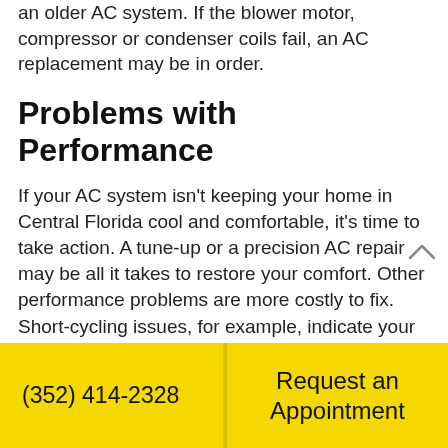an older AC system. If the blower motor, compressor or condenser coils fail, an AC replacement may be in order.
Problems with Performance
If your AC system isn't keeping your home in Central Florida cool and comfortable, it's time to take action. A tune-up or a precision AC repair may be all it takes to restore your comfort. Other performance problems are more costly to fix. Short-cycling issues, for example, indicate your air conditioner was sized too big for your home. If your AC keeps
(352) 414-2328  |  Request an Appointment